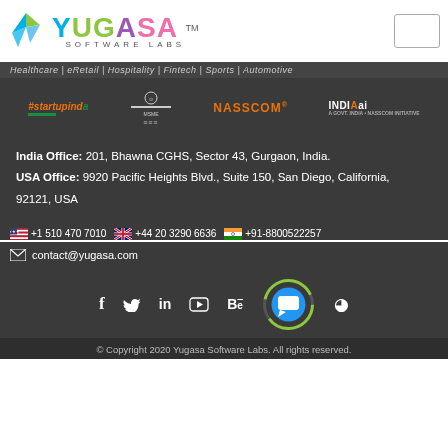[Figure (logo): Yugasa Software Labs logo with colorful bird icon]
Healthcare | eRetail | Hospitality | Fintech | Sports | Automotive
[Figure (logo): Partner logos: #startupindia, MSME, NASSCOM, INDIAai]
India Office: 201, Bhawna CGHS, Sector 43, Gurgaon, India.
USA Office: 9920 Pacific Heights Blvd., Suite 150, San Diego, California, 92121, USA
+1 510 470 7010   +44 20 3290 6636   +91-8800522257
contact@yugasa.com
[Figure (logo): Social media icons: Facebook, Twitter, LinkedIn, YouTube, Behance, and others]
© Copyright 2020 Yugasa Software Labs. All rights reserved.